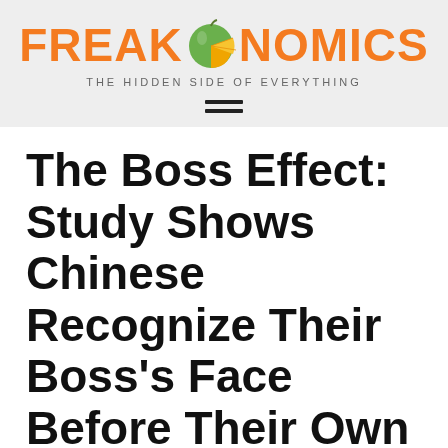[Figure (logo): Freakonomics logo with orange/green apple fruit graphic, text FREAKONOMICS in orange bold, tagline THE HIDDEN SIDE OF EVERYTHING, and hamburger menu icon]
The Boss Effect: Study Shows Chinese Recognize Their Boss's Face Before Their Own